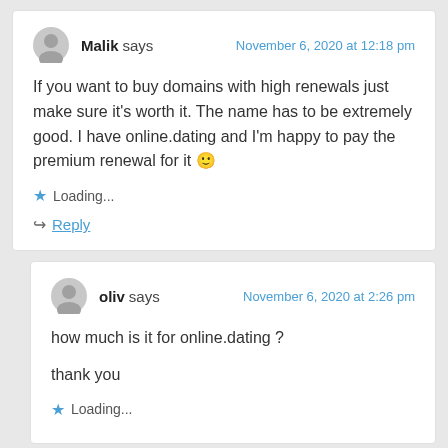Malik says — November 6, 2020 at 12:18 pm
If you want to buy domains with high renewals just make sure it's worth it. The name has to be extremely good. I have online.dating and I'm happy to pay the premium renewal for it 🙂
Loading...
Reply
oliv says — November 6, 2020 at 2:26 pm
how much is it for online.dating ?
thank you
Loading...